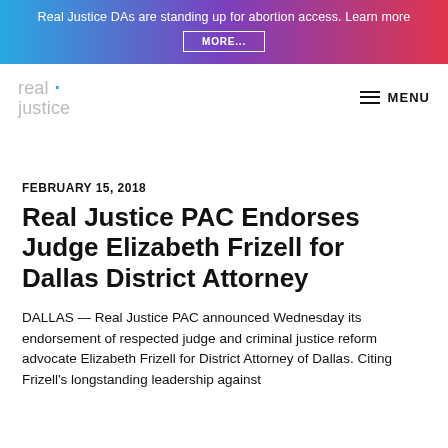Real Justice DAs are standing up for abortion access. Learn more MORE...
real justice MENU
FEBRUARY 15, 2018
Real Justice PAC Endorses Judge Elizabeth Frizell for Dallas District Attorney
DALLAS — Real Justice PAC announced Wednesday its endorsement of respected judge and criminal justice reform advocate Elizabeth Frizell for District Attorney of Dallas. Citing Frizell's longstanding leadership against